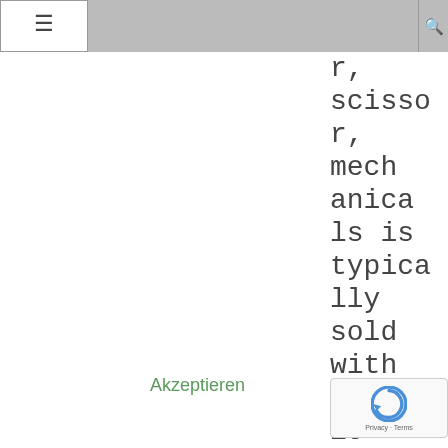the
[Figure (screenshot): Navigation bar with hamburger menu icon on left, grey center, and search icon on right]
r, scissor, mechanicals is typically sold with specific switches based on
Akzeptieren
[Figure (logo): reCAPTCHA badge with Google logo and Privacy - Terms text]